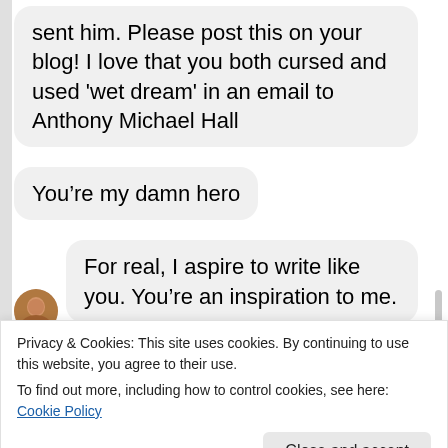sent him. Please post this on your blog! I love that you both cursed and used ‘wet dream’ in an email to Anthony Michael Hall
You’re my damn hero
For real, I aspire to write like you. You’re an inspiration to me.
I had no intention of sending Anthony Michael Hall an
Privacy & Cookies: This site uses cookies. By continuing to use this website, you agree to their use.
To find out more, including how to control cookies, see here: Cookie Policy
Close and accept
So, Mr. Hall, if you’re out there listening, please don’t give